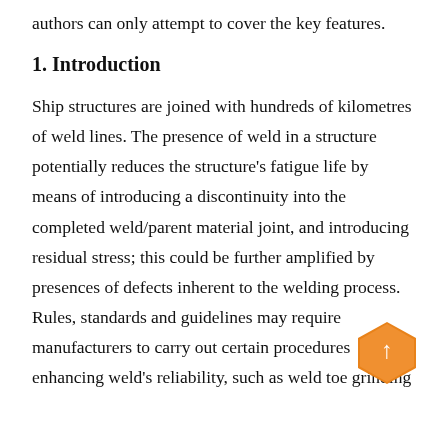authors can only attempt to cover the key features.
1. Introduction
Ship structures are joined with hundreds of kilometres of weld lines. The presence of weld in a structure potentially reduces the structure’s fatigue life by means of introducing a discontinuity into the completed weld/parent material joint, and introducing residual stress; this could be further amplified by presences of defects inherent to the welding process. Rules, standards and guidelines may require manufacturers to carry out certain procedures enhancing weld’s reliability, such as weld toe grinding